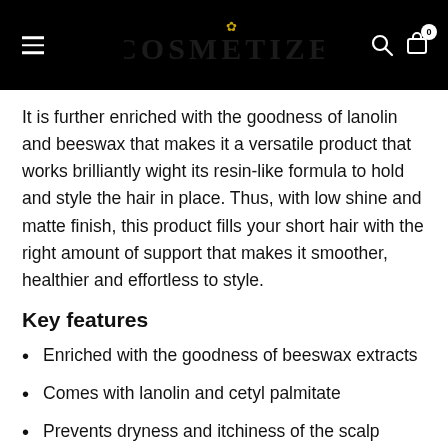COSMETIZE
It is further enriched with the goodness of lanolin and beeswax that makes it a versatile product that works brilliantly wight its resin-like formula to hold and style the hair in place. Thus, with low shine and matte finish, this product fills your short hair with the right amount of support that makes it smoother, healthier and effortless to style.
Key features
Enriched with the goodness of beeswax extracts
Comes with lanolin and cetyl palmitate
Prevents dryness and itchiness of the scalp